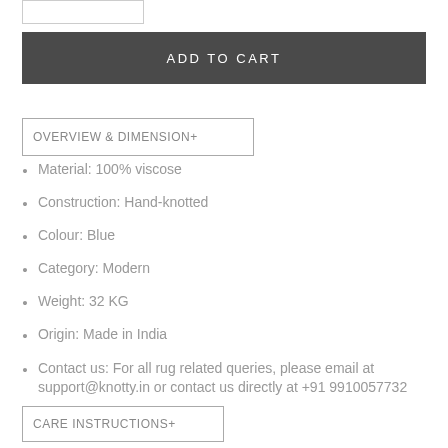[Figure (other): Small rectangular input/quantity box at top left]
ADD TO CART
OVERVIEW & DIMENSION+
Material: 100% viscose
Construction: Hand-knotted
Colour: Blue
Category: Modern
Weight: 32 KG
Origin: Made in India
Contact us: For all rug related queries, please email at support@knotty.in or contact us directly at +91 9910057732
CARE INSTRUCTIONS+